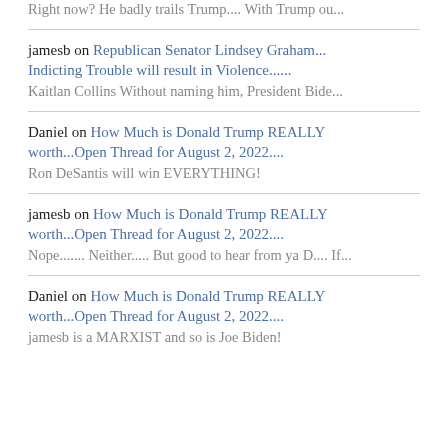Right now? He badly trails Trump.... With Trump ou...
jamesb on Republican Senator Lindsey Graham... Indicting Trouble will result in Violence...... Kaitlan Collins Without naming him, President Bide...
Daniel on How Much is Donald Trump REALLY worth...Open Thread for August 2, 2022.... Ron DeSantis will win EVERYTHING!
jamesb on How Much is Donald Trump REALLY worth...Open Thread for August 2, 2022.... Nope....... Neither..... But good to hear from ya D.... If...
Daniel on How Much is Donald Trump REALLY worth...Open Thread for August 2, 2022.... jamesb is a MARXIST and so is Joe Biden!